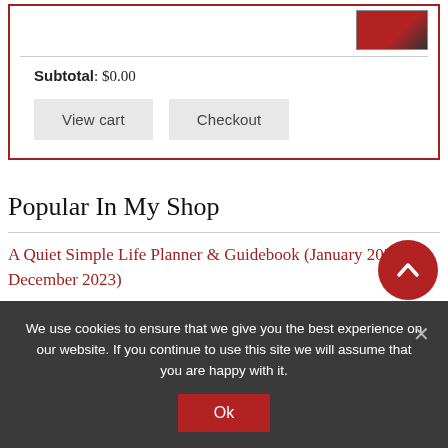Subtotal: $0.00
View cart
Checkout
Popular In My Shop
A Quiet Simple Life Planner & Guidebook (January 2022 – December 2023)
A Cozy Year Journal Pages – 12 Designs, 4 Layo...
We use cookies to ensure that we give you the best experience on our website. If you continue to use this site we will assume that you are happy with it.
Ok